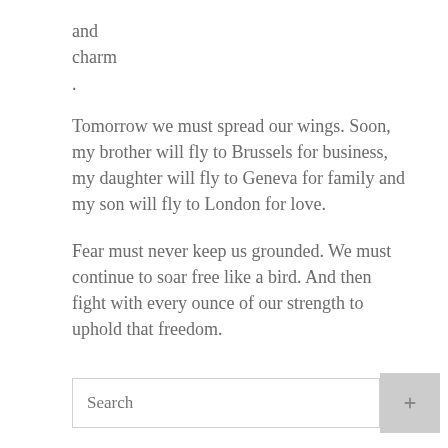and
charm
.
Tomorrow we must spread our wings. Soon, my brother will fly to Brussels for business, my daughter will fly to Geneva for family and my son will fly to London for love.
Fear must never keep us grounded. We must continue to soar free like a bird. And then fight with every ounce of our strength to uphold that freedom.